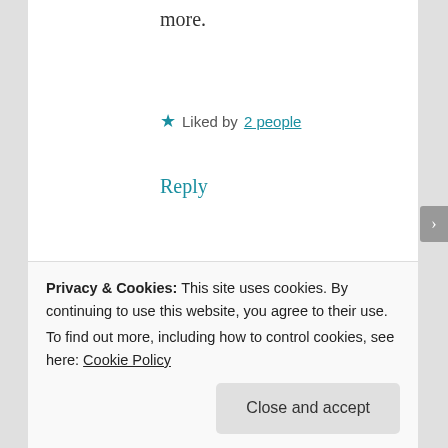more.
★ Liked by 2 people
Reply
Advertisements
Sandya
FEBRUARY 24, 2019 AT 10:51 PM
Privacy & Cookies: This site uses cookies. By continuing to use this website, you agree to their use.
To find out more, including how to control cookies, see here: Cookie Policy
Close and accept